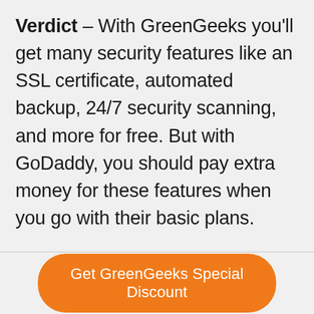Verdict – With GreenGeeks you'll get many security features like an SSL certificate, automated backup, 24/7 security scanning, and more for free. But with GoDaddy, you should pay extra money for these features when you go with their basic plans.
Get GreenGeeks Special Discount